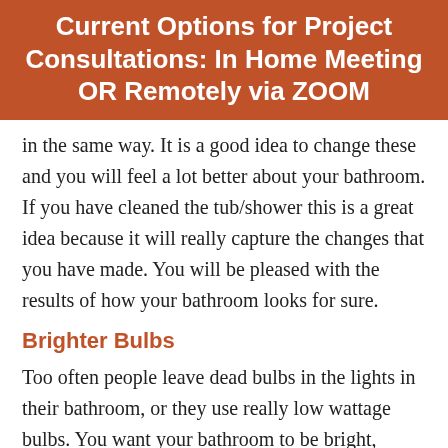Current Options for Project Consultations: In Home Meeting OR Remotely via ZOOM
in the same way. It is a good idea to change these and you will feel a lot better about your bathroom. If you have cleaned the tub/shower this is a great idea because it will really capture the changes that you have made. You will be pleased with the results of how your bathroom looks for sure.
Brighter Bulbs
Too often people leave dead bulbs in the lights in their bathroom, or they use really low wattage bulbs. You want your bathroom to be bright, especially if the sink, shower and toilet are white. This will really light up the room and make it look really impressive. You will love how much